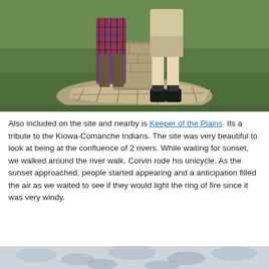[Figure (photo): Photo of people standing near a stone monument on a stone patio with grass in the background. One person wearing plaid, another in khaki shorts and black boots.]
Also included on the site and nearby is Keeper of the Plains. Its a tribute to the Kiowa-Comanche Indians. The site was very beautiful to look at being at the confluence of 2 rivers. While waiting for sunset, we walked around the river walk. Corvin rode his unicycle. As the sunset approached, people started appearing and a anticipation filled the air as we waited to see if they would light the ring of fire since it was very windy.
[Figure (photo): Partial photo of a cloudy sky, light blue-grey tones, appearing at the bottom of the page.]